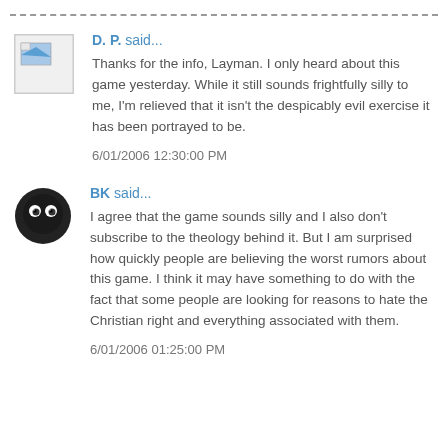D. P. said...
Thanks for the info, Layman. I only heard about this game yesterday. While it still sounds frightfully silly to me, I'm relieved that it isn't the despicably evil exercise it has been portrayed to be.
6/01/2006 12:30:00 PM
BK said...
I agree that the game sounds silly and I also don't subscribe to the theology behind it. But I am surprised how quickly people are believing the worst rumors about this game. I think it may have something to do with the fact that some people are looking for reasons to hate the Christian right and everything associated with them.
6/01/2006 01:25:00 PM